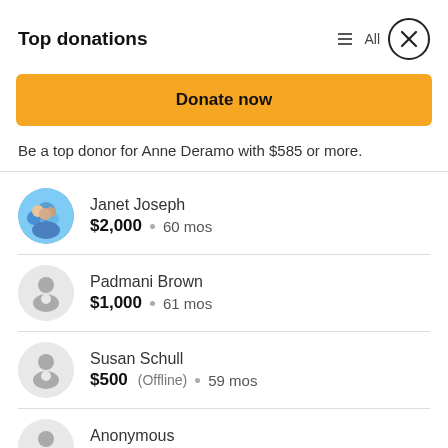Top donations
Donate now
Be a top donor for Anne Deramo with $585 or more.
Janet Joseph $2,000 • 60 mos
Padmani Brown $1,000 • 61 mos
Susan Schull $500 (Offline) • 59 mos
Anonymous $500 • 60 mos